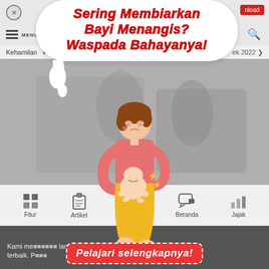Sering Membiarkan Bayi Menangis? Waspada Bahayanya!
Kehamilan ... ek 2022
[Figure (illustration): Cartoon illustration of a tired mother holding a crying baby, overlaid on a photo background of people]
Fitur   Artikel   Beranda   Jajak
Kami me... laman terbaik.
Pelajari selengkapnya!